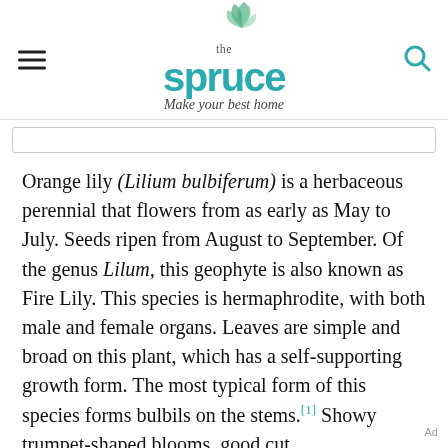the spruce — Make your best home
Orange lily (Lilium bulbiferum) is a herbaceous perennial that flowers from as early as May to July. Seeds ripen from August to September. Of the genus Lilum, this geophyte is also known as Fire Lily. This species is hermaphrodite, with both male and female organs. Leaves are simple and broad on this plant, which has a self-supporting growth form. The most typical form of this species forms bulbils on the stems.[1] Showy trumpet-shaped blooms, good cut